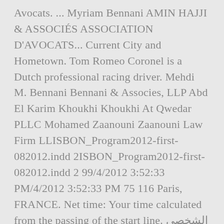Avocats. ... Myriam Bennani AMIN HAJJI & ASSOCIÉS ASSOCIATION D'AVOCATS... Current City and Hometown. Tom Romeo Coronel is a Dutch professional racing driver. Mehdi M. Bennani Bennani & Associes, LLP Abd El Karim Khoukhi Khoukhi At Qwedar PLLC Mohamed Zaanouni Zaanouni Law Firm LLISBON_Program2012-first-082012.indd 2ISBON_Program2012-first-082012.indd 2 99/4/2012 3:52:33 PM/4/2012 3:52:33 PM 75 116 Paris, FRANCE. Net time: Your time calculated from the passing of the start line. الشخصي على HAMZI Idrissia Zineb عرض ملف LinkedIn، أكبر شبكة للمحترفين في العالم. Mehdi Bennani Senior Associate at PwC Canada - Risk Advisory Montreal, QC. Choose from 10